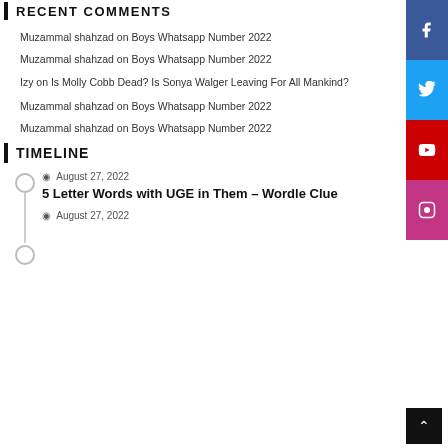RECENT COMMENTS
Muzammal shahzad on Boys Whatsapp Number 2022
Muzammal shahzad on Boys Whatsapp Number 2022
Izy on Is Molly Cobb Dead? Is Sonya Walger Leaving For All Mankind?
Muzammal shahzad on Boys Whatsapp Number 2022
Muzammal shahzad on Boys Whatsapp Number 2022
TIMELINE
August 27, 2022
5 Letter Words with UGE in Them – Wordle Clue
August 27, 2022